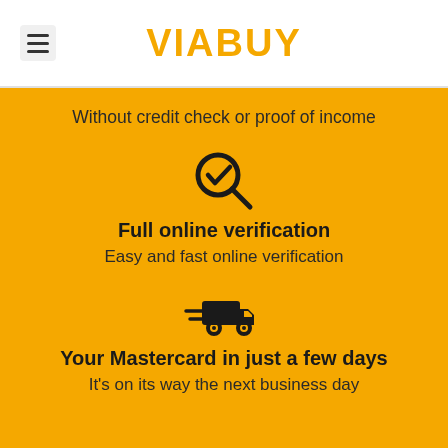VIABUY
Without credit check or proof of income
[Figure (illustration): Search/verification icon: magnifying glass with a checkmark inside]
Full online verification
Easy and fast online verification
[Figure (illustration): Fast delivery truck icon with speed lines]
Your Mastercard in just a few days
It's on its way the next business day